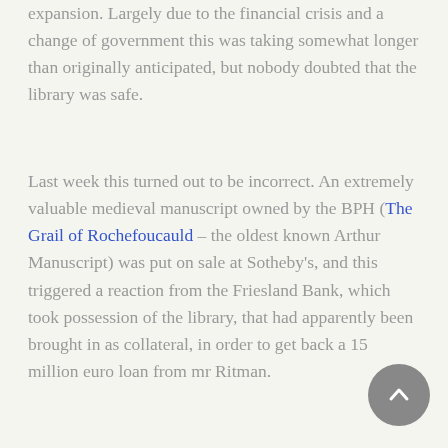expansion. Largely due to the financial crisis and a change of government this was taking somewhat longer than originally anticipated, but nobody doubted that the library was safe.
Last week this turned out to be incorrect. An extremely valuable medieval manuscript owned by the BPH (The Grail of Rochefoucauld – the oldest known Arthur Manuscript) was put on sale at Sotheby's, and this triggered a reaction from the Friesland Bank, which took possession of the library, that had apparently been brought in as collateral, in order to get back a 15 million euro loan from mr Ritman.